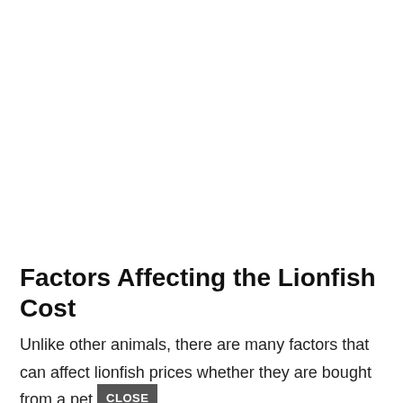Factors Affecting the Lionfish Cost
Unlike other animals, there are many factors that can affect lionfish prices whether they are bought from a pet store or from an official breeder.